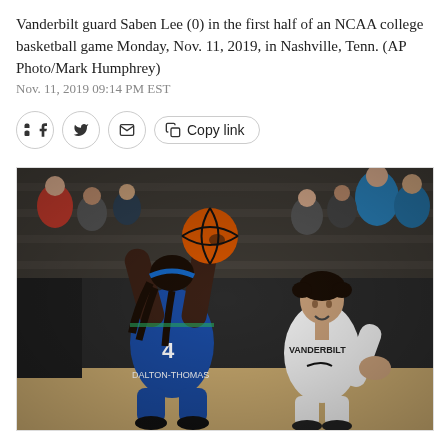Vanderbilt guard Saben Lee (0) in the first half of an NCAA college basketball game Monday, Nov. 11, 2019, in Nashville, Tenn. (AP Photo/Mark Humphrey)
Nov. 11, 2019 09:14 PM EST
[Figure (photo): Basketball game photo showing a player in blue jersey number 4 (DALTON-THOMAS) shooting the ball while a Vanderbilt player defends. Indoor arena with sparse crowd in background.]